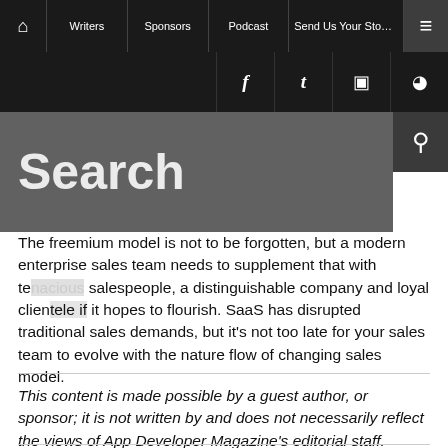Home | Writers | Sponsors | Podcast | Send Us Your Story | Menu
The freemium model is not to be forgotten, but a modern enterprise sales team needs to supplement that with tenacious salespeople, a distinguishable company and loyal clientele if it hopes to flourish. SaaS has disrupted traditional sales demands, but it's not too late for your sales team to evolve with the nature flow of changing sales model.
This content is made possible by a guest author, or sponsor; it is not written by and does not necessarily reflect the views of App Developer Magazine's editorial staff.